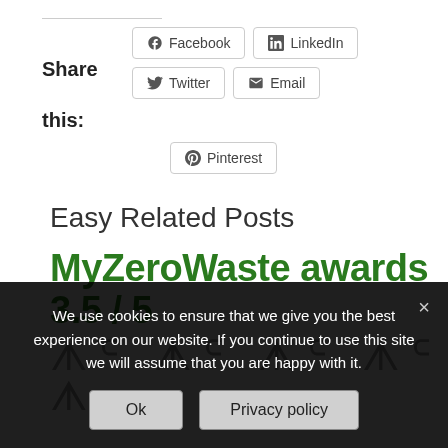Share
Facebook LinkedIn Twitter Email
this:
Pinterest
Easy Related Posts
[Figure (other): MyZeroWaste awards 3.5 / 5 banner with green bold text and decorative leaf/crown symbols below]
We use cookies to ensure that we give you the best experience on our website. If you continue to use this site we will assume that you are happy with it.
Ok  Privacy policy